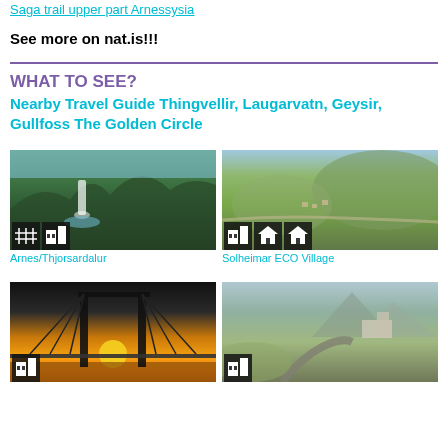Saga trail upper part Arnessysia
See more on nat.is!!!
WHAT TO SEE?
Nearby Travel Guide Thingvellir, Laugarvatn, Geysir, Gullfoss The Golden Circle
[Figure (photo): Landscape photo showing a waterfall in a rocky canyon with green vegetation - Arnes/Thjorsardalur]
Arnes/Thjorsardalur
[Figure (photo): Aerial view of green Icelandic landscape with a settlement - Solheimar ECO Village]
Solheimar ECO Village
[Figure (photo): Suspension bridge silhouette at sunset with orange sky]
[Figure (photo): Aerial view of rural Icelandic road and landscape with mountains]